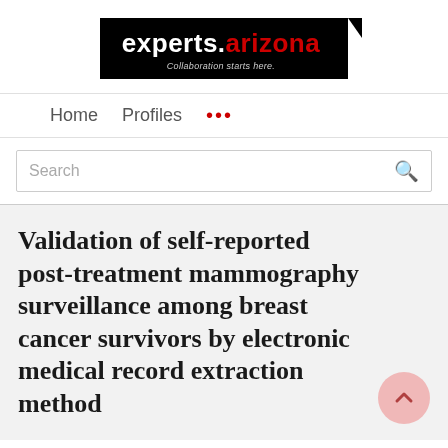[Figure (logo): experts.arizona logo on black background with tagline 'Collaboration starts here.']
Home   Profiles   ...
Search
Validation of self-reported post-treatment mammography surveillance among breast cancer survivors by electronic medical record extraction method